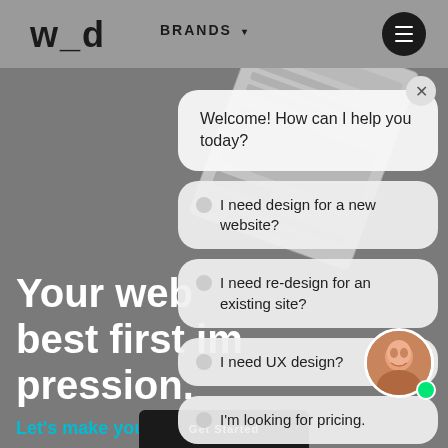w_d   BRANDS ▾
[Figure (screenshot): Chatbot overlay on web design agency website showing multiple chat bubble options]
Your website is your best first impression.
Let's make your dream site.
Welcome! How can I help you today?
I need design for a new website?
I need re-design for an existing site?
I need UX design?
I'm looking for pricing.
Get Started